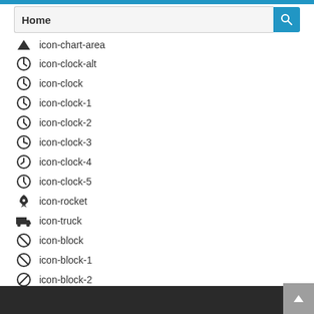Home (search bar)
icon-chart-area
icon-clock-alt
icon-clock
icon-clock-1
icon-clock-2
icon-clock-3
icon-clock-4
icon-clock-5
icon-rocket
icon-truck
icon-block
icon-block-1
icon-block-2
icon-block-3
icon-block-4